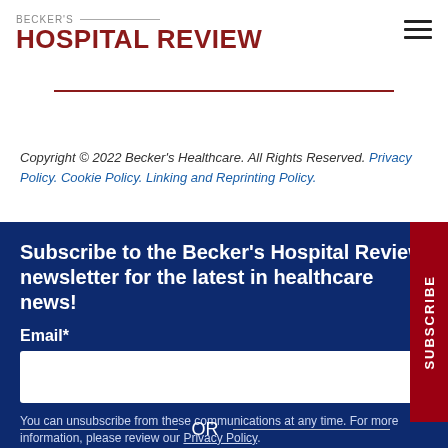BECKER'S HOSPITAL REVIEW
Copyright © 2022 Becker's Healthcare. All Rights Reserved. Privacy Policy. Cookie Policy. Linking and Reprinting Policy.
Subscribe to the Becker's Hospital Review newsletter for the latest in healthcare news!
Email*
You can unsubscribe from these communications at any time. For more information, please review our Privacy Policy.
SUBSCRIBE
OR